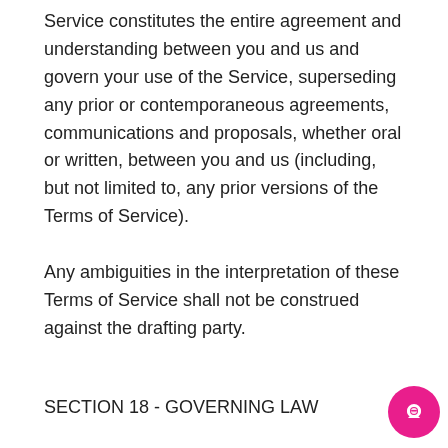Service constitutes the entire agreement and understanding between you and us and govern your use of the Service, superseding any prior or contemporaneous agreements, communications and proposals, whether oral or written, between you and us (including, but not limited to, any prior versions of the Terms of Service).
Any ambiguities in the interpretation of these Terms of Service shall not be construed against the drafting party.
SECTION 18 - GOVERNING LAW
These Terms of Service and any separate agreements whereby we provide you Services shall be governed by and construed in accordance with the laws of 721